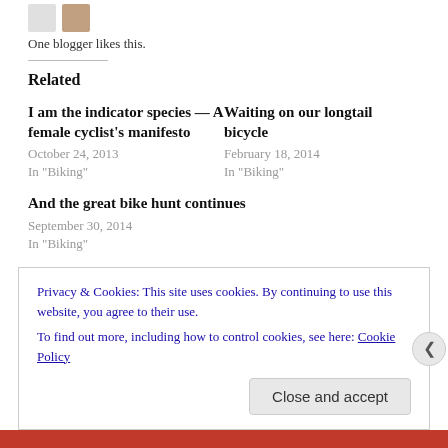One blogger likes this.
Related
I am the indicator species — A female cyclist's manifesto
October 24, 2013
In "Biking"
Waiting on our longtail bicycle
February 18, 2014
In "Biking"
And the great bike hunt continues
September 30, 2014
In "Biking"
Privacy & Cookies: This site uses cookies. By continuing to use this website, you agree to their use.
To find out more, including how to control cookies, see here: Cookie Policy